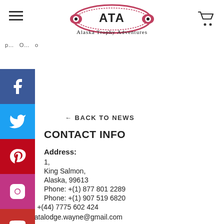[Figure (logo): Alaska Trophy Adventures logo with stylized fish/eye design and text]
← BACK TO NEWS
CONTACT INFO
Address:
1,
King Salmon,
Alaska, 99613
Phone: +(1) 877 801 2289
Phone: +(1) 907 519 6820
Phone: +(44) 7775 602 424
Email: atalodge.wayne@gmail.com